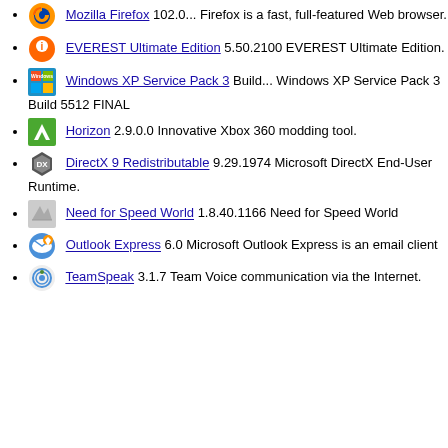Mozilla Firefox 102.0... Firefox is a fast, full-featured Web browser.
EVEREST Ultimate Edition 5.50.2100 EVEREST Ultimate Edition.
Windows XP Service Pack 3 Build... Windows XP Service Pack 3 Build 5512 FINAL
Horizon 2.9.0.0 Innovative Xbox 360 modding tool.
DirectX 9 Redistributable 9.29.1974 Microsoft DirectX End-User Runtime.
Need for Speed World 1.8.40.1166 Need for Speed World
Outlook Express 6.0 Microsoft Outlook Express is an email client
TeamSpeak 3.1.7 Team Voice communication via the Internet.